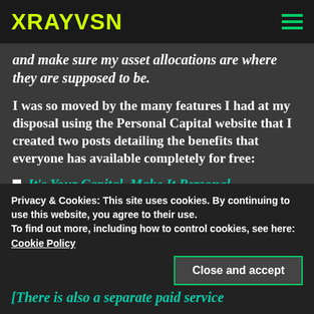XRAYVSN
and make sure my asset allocations are where they are supposed to be.
I was so moved by the many features I had at my disposal using the Personal Capital website that I created two posts detailing the benefits that everyone has available completely for free:
It’s Your Capital. Make It Personal
Privacy & Cookies: This site uses cookies. By continuing to use this website, you agree to their use.
To find out more, including how to control cookies, see here:
Cookie Policy
Close and accept
[There is also a separate paid service